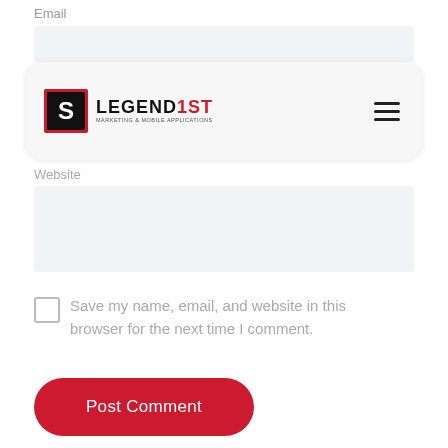Email
[Figure (screenshot): Email input field (light blue-gray background, empty)]
[Figure (logo): Legend1st Marketing & Mobile Applications logo with navigation bar overlay (hamburger menu icon)]
Website
[Figure (screenshot): Website input field (light blue-gray background, empty, taller)]
Save my name, email, and website in this browser for the next time I comment.
[Figure (screenshot): Post Comment button — red pill-shaped button with white text]
You may also like